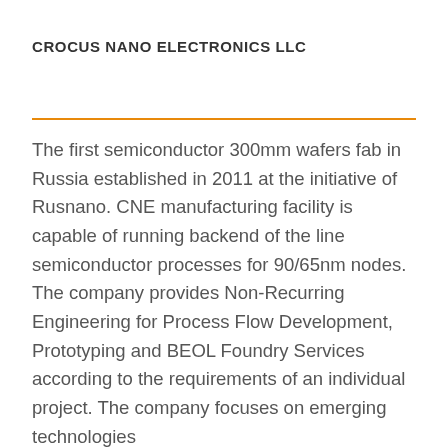CROCUS NANO ELECTRONICS LLC
The first semiconductor 300mm wafers fab in Russia established in 2011 at the initiative of Rusnano. CNE manufacturing facility is capable of running backend of the line semiconductor processes for 90/65nm nodes. The company provides Non-Recurring Engineering for Process Flow Development, Prototyping and BEOL Foundry Services according to the requirements of an individual project. The company focuses on emerging technologies